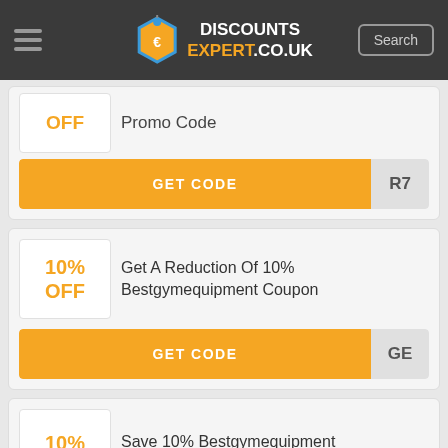DISCOUNTS EXPERT.CO.UK
OFF Promo Code
GET CODE R7
10% OFF Get A Reduction Of 10% Bestgymequipment Coupon
GET CODE GE
10% Save 10% Bestgymequipment